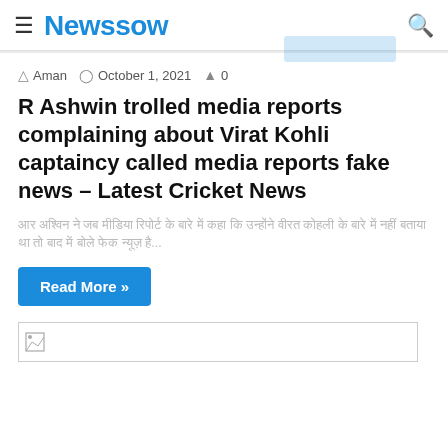Newssow
Aman  October 1, 2021  0
R Ashwin trolled media reports complaining about Virat Kohli captaincy called media reports fake news – Latest Cricket News
आर अश्विन ने जब मीडिया रिपोर्ट के बारे में कहा कि उन्होंने वीरत कोहली के बारे में नहीं बताया था तो बाद में बोले फेक न्यूज़ है...
Read More »
[Figure (photo): Broken image placeholder]